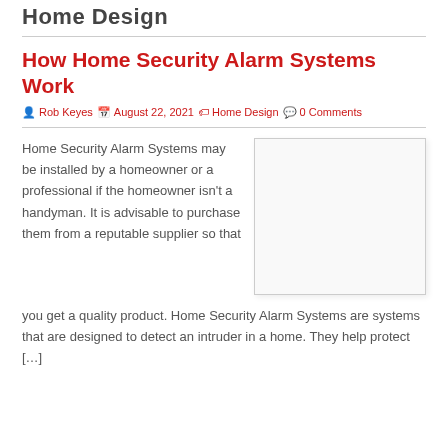Home Design
How Home Security Alarm Systems Work
Rob Keyes  August 22, 2021  Home Design  0 Comments
[Figure (photo): Blank/white placeholder image for article]
Home Security Alarm Systems may be installed by a homeowner or a professional if the homeowner isn't a handyman. It is advisable to purchase them from a reputable supplier so that you get a quality product. Home Security Alarm Systems are systems that are designed to detect an intruder in a home. They help protect [...]